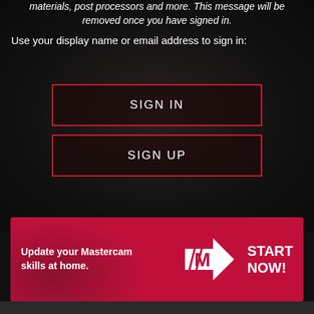materials, post processors and more. This message will be removed once you have signed in.
Use your display name or email address to sign in:
SIGN IN
SIGN UP
[Figure (infographic): Mastercam advertisement banner with red background, arrow logo, and text 'Update your Mastercam skills at home. START NOW!']